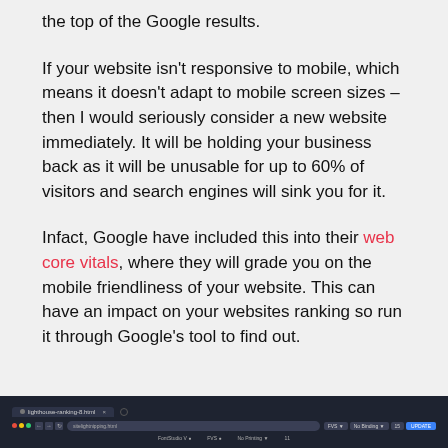the top of the Google results.
If your website isn't responsive to mobile, which means it doesn't adapt to mobile screen sizes – then I would seriously consider a new website immediately. It will be holding your business back as it will be unusable for up to 60% of visitors and search engines will sink you for it.
Infact, Google have included this into their web core vitals, where they will grade you on the mobile friendliness of your website. This can have an impact on your websites ranking so run it through Google's tool to find out.
[Figure (screenshot): A browser screenshot showing a dark browser window with tab bar, URL bar, and browser controls at the bottom of the page.]